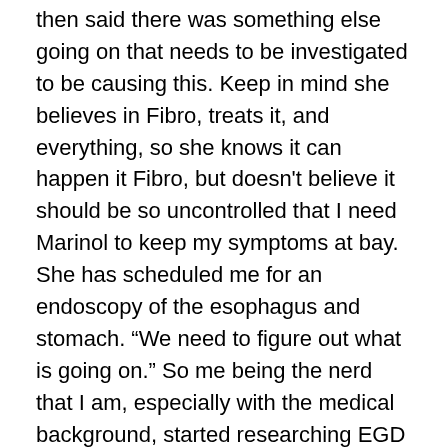then said there was something else going on that needs to be investigated to be causing this.  Keep in mind she believes in Fibro, treats it, and everything, so she knows it can happen it Fibro, but doesn't believe it should be so uncontrolled that I need Marinol to keep my symptoms at bay.  She has scheduled me for an endoscopy of the esophagus and stomach.  "We need to figure out what is going on."  So me being the nerd that I am, especially with the medical background, started researching EGD (the procedure) and then found a lot of articles from reputable sites (as in, the ones that the neuro office used when I worked there) about the causes of symptoms that lead to this procedure.  It turns out I have a lot of risk factors on board and a lot of my unexplained symptoms that the other doctors never paid attention to when I mentioned them were all red flags saying I needed this scope.  Long story short, due to all of my medical history and